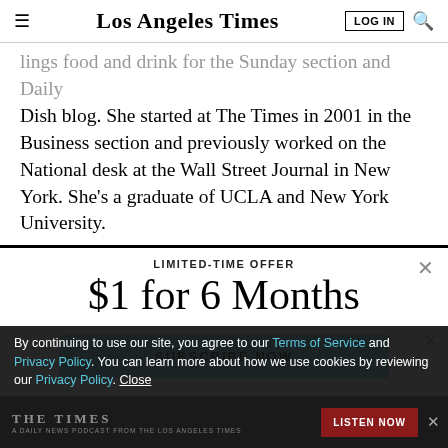Los Angeles Times
lings food and drink for the Sunday section and Daily Dish blog. She started at The Times in 2001 in the Business section and previously worked on the National desk at the Wall Street Journal in New York. She’s a graduate of UCLA and New York University.
LIMITED-TIME OFFER
$1 for 6 Months
SUBSCRIBE NOW
By continuing to use our site, you agree to our Terms of Service and Privacy Policy. You can learn more about how we use cookies by reviewing our Privacy Policy. Close